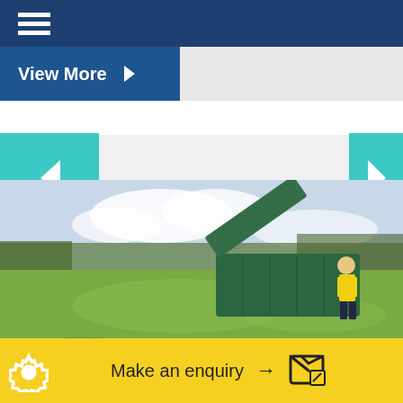[Figure (screenshot): Navy top navigation bar with hamburger menu icon (three white horizontal lines)]
View More ▶
[Figure (photo): Outdoor photo of a worker in a yellow high-visibility vest inspecting or operating a large green metal bin/container in a grassy field, with trees in background and green tank covers in foreground]
Make an enquiry →